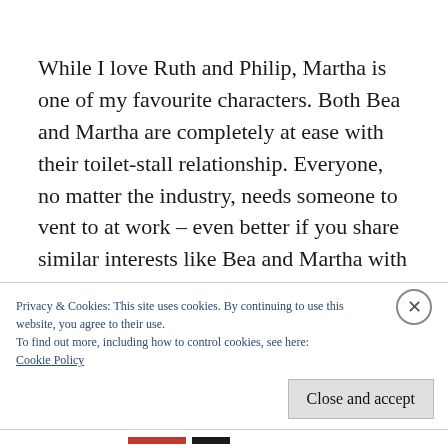While I love Ruth and Philip, Martha is one of my favourite characters. Both Bea and Martha are completely at ease with their toilet-stall relationship. Everyone, no matter the industry, needs someone to vent to at work – even better if you share similar interests like Bea and Martha with their love of Jane Austen. Later in the novel when Bea bumps into Martha again it
Privacy & Cookies: This site uses cookies. By continuing to use this website, you agree to their use.
To find out more, including how to control cookies, see here:
Cookie Policy
Close and accept